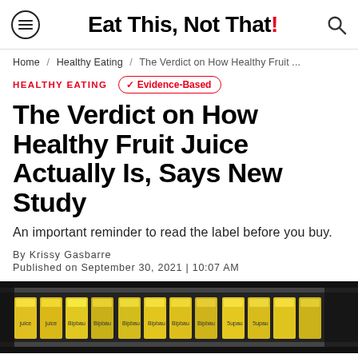Eat This, Not That!
Home / Healthy Eating / The Verdict on How Healthy Fruit ...
HEALTHY EATING
Evidence-Based
The Verdict on How Healthy Fruit Juice Actually Is, Says New Study
An important reminder to read the label before you buy.
By Krissy Gasbarre
Published on September 30, 2021 | 10:07 AM
[Figure (photo): Grocery store shelf stocked with fruit juice cartons]